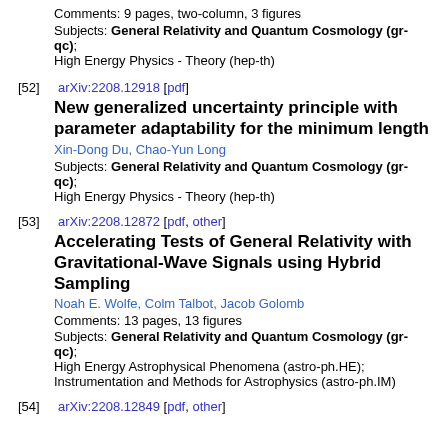Comments: 9 pages, two-column, 3 figures
Subjects: General Relativity and Quantum Cosmology (gr-qc); High Energy Physics - Theory (hep-th)
[52] arXiv:2208.12918 [pdf]
New generalized uncertainty principle with parameter adaptability for the minimum length
Xin-Dong Du, Chao-Yun Long
Subjects: General Relativity and Quantum Cosmology (gr-qc); High Energy Physics - Theory (hep-th)
[53] arXiv:2208.12872 [pdf, other]
Accelerating Tests of General Relativity with Gravitational-Wave Signals using Hybrid Sampling
Noah E. Wolfe, Colm Talbot, Jacob Golomb
Comments: 13 pages, 13 figures
Subjects: General Relativity and Quantum Cosmology (gr-qc); High Energy Astrophysical Phenomena (astro-ph.HE); Instrumentation and Methods for Astrophysics (astro-ph.IM)
[54] arXiv:2208.12849 [pdf, other]